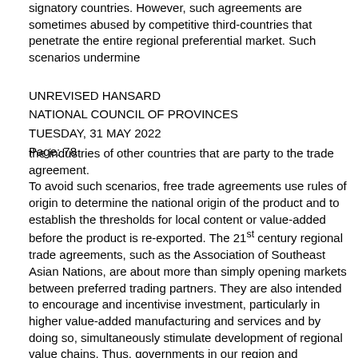signatory countries. However, such agreements are sometimes abused by competitive third-countries that penetrate the entire regional preferential market. Such scenarios undermine
UNREVISED HANSARD
NATIONAL COUNCIL OF PROVINCES
TUESDAY, 31 MAY 2022
Page: 78
the industries of other countries that are party to the trade agreement.
To avoid such scenarios, free trade agreements use rules of origin to determine the national origin of the product and to establish the thresholds for local content or value-added before the product is re-exported. The 21st century regional trade agreements, such as the Association of Southeast Asian Nations, are about more than simply opening markets between preferred trading partners. They are also intended to encourage and incentivise investment, particularly in higher value-added manufacturing and services and by doing so, simultaneously stimulate development of regional value chains. Thus, governments in our region and continent must begin to increase intraregional trade flows and stimulate investment in